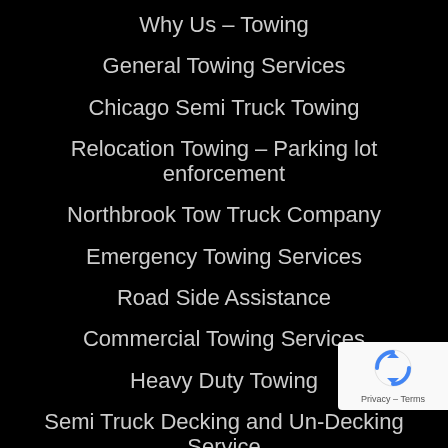Why Us – Towing
General Towing Services
Chicago Semi Truck Towing
Relocation Towing – Parking lot enforcement
Northbrook Tow Truck Company
Emergency Towing Services
Road Side Assistance
Commercial Towing Services
Heavy Duty Towing
Semi Truck Decking and Un-Decking Service
Cargo, Load Shifts, and Load Transfers
Heavy Duty Winching and Recovery
Chicagoland Heavy Equipment Transpo…
Towing and Recovery Services for North Chica…
Chicago RV Towing…
[Figure (logo): reCAPTCHA privacy badge with rotating arrows icon and Privacy – Terms text]